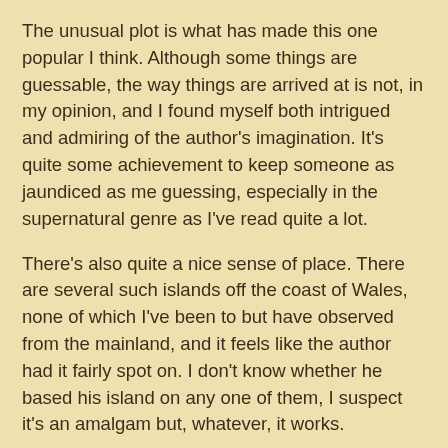The unusual plot is what has made this one popular I think. Although some things are guessable, the way things are arrived at is not, in my opinion, and I found myself both intrigued and admiring of the author's imagination. It's quite some achievement to keep someone as jaundiced as me guessing, especially in the supernatural genre as I've read quite a lot.
There's also quite a nice sense of place. There are several such islands off the coast of Wales, none of which I've been to but have observed from the mainland, and it feels like the author had it fairly spot on. I don't know whether he based his island on any one of them, I suspect it's an amalgam but, whatever, it works.
It's always hard for an American author to write a book set in the UK, and vice versa; it usually shows. In this one I thought the author did a good job though I was thrown quite badly when Miss Peregrine used the word 'knob-head'. That's not a term that would have been around in her time, plus... it's not a word a woman of her generation would use... at least I don't personally think so. I don't even use it now, in the 21st